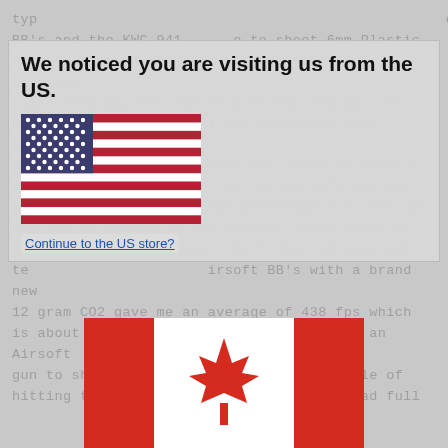type BB's and the KWC 941 CO2 Airsoft Pistol to shoot 6mm Plastic Airsoft BB's. Getting back to this Field Test Shooting video show did the KWC Jericho 941 CO2 Airsoft Pistol perform for me? I was expecting some pretty decent fps performance sine the steel BB version was a pretty hot shooter but in Airsoft you don't always want crazy high fps performance or the gun may not be usable in any Airsoft games since it could injure an opponent. My 5 shot Chronograph test using .20g Airsoft BB's with a brand new 12 gram CO2 gave me an average of 438 fps which is about as fast as you are going to want an Airsoft gun to shoot. This pistol should be capable of hitting targets pretty far down range. Read full
[Figure (illustration): Popup overlay with US flag and Canadian flag indicating geo-location redirect. Overlay title: 'We noticed you are visiting us from the US.' with a 'Continue to the US store?' link. US flag (stars and stripes) shown in upper left of overlay. Canadian flag (red maple leaf) shown at bottom of page.]
We noticed you are visiting us from the US.
Continue to the US store?